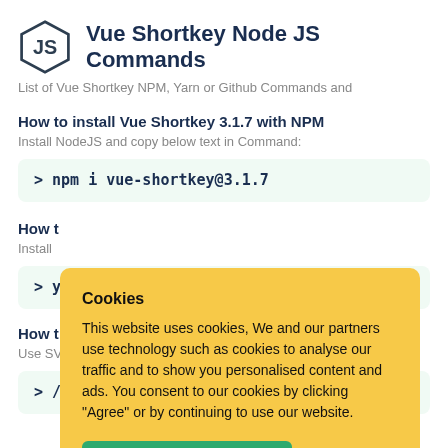Vue Shortkey Node JS Commands
List of Vue Shortkey NPM, Yarn or Github Commands and
How to install Vue Shortkey 3.1.7 with NPM
Install NodeJS and copy below text in Command:
> npm i vue-shortkey@3.1.7
How t
Install
> y
How t
Use SV
> /
Cookies
This website uses cookies, We and our partners use technology such as cookies to analyse our traffic and to show you personalised content and ads. You consent to our cookies by clicking "Agree" or by continuing to use our website.
AGREE
Cookies Policy